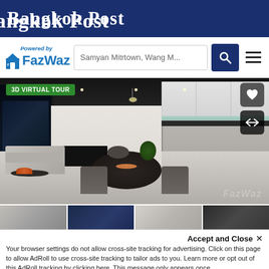Bangkok Post
[Figure (logo): FazWaz logo with 'Powered by' text above, blue house icon and FazWaz brand name, search bar with 'Samyan Mitrtown, Wang M...' placeholder, search button, hamburger menu]
[Figure (photo): Interior photo of a modern luxury apartment showing open-plan living/dining/kitchen area with dark round dining table, grey chairs, white kitchen cabinets, teal backsplash, city night view through floor-to-ceiling windows. '3D VIRTUAL TOUR' badge top-left. Heart and arrow icons top-right. FazWaz watermark bottom-right.]
[Figure (photo): Thumbnail strip of 4 smaller interior/exterior apartment photos]
Accept and Close ✕
Your browser settings do not allow cross-site tracking for advertising. Click on this page to allow AdRoll to use cross-site tracking to tailor ads to you. Learn more or opt out of this AdRoll tracking by clicking here. This message only appears once.